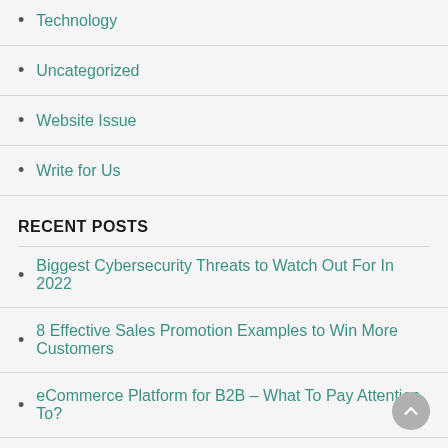Technology
Uncategorized
Website Issue
Write for Us
RECENT POSTS
Biggest Cybersecurity Threats to Watch Out For In 2022
8 Effective Sales Promotion Examples to Win More Customers
eCommerce Platform for B2B – What To Pay Attention To?
9 Companies Built On Magento You Didn't Know About
5 Deadly Marketing Mistakes That Can Be Avoided